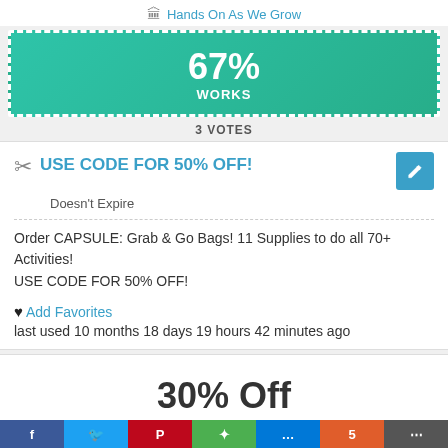🏛 Hands On As We Grow
[Figure (infographic): Green banner showing 67% WORKS with dashed white border]
3 VOTES
USE CODE FOR 50% OFF!
Doesn't Expire
Order CAPSULE: Grab & Go Bags! 11 Supplies to do all 70+ Activities!
USE CODE FOR 50% OFF!
♥ Add Favorites last used 10 months 18 days 19 hours 42 minutes ago
30% Off
Website Coupons
🏛 Hands On As We Grow